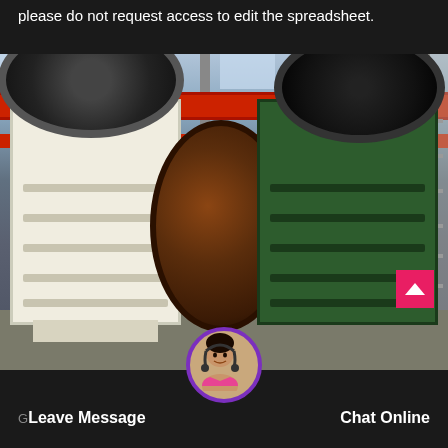please do not request access to edit the spreadsheet.
[Figure (photo): Industrial factory floor showing two jaw crusher machines — one white on the left and one dark green on the right — with large black flywheels and an overhead red crane beam, inside a large manufacturing facility with steel structure and skylights.]
Leave Message
Chat Online